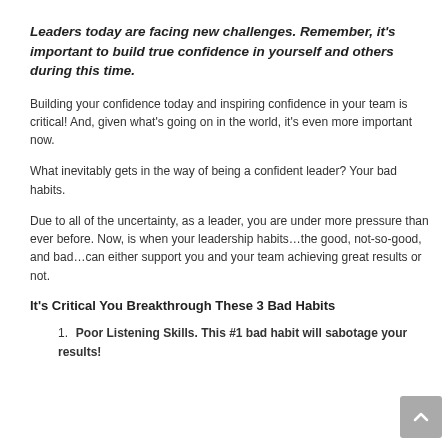Leaders today are facing new challenges. Remember, it's important to build true confidence in yourself and others during this time.
Building your confidence today and inspiring confidence in your team is critical! And, given what's going on in the world, it's even more important now.
What inevitably gets in the way of being a confident leader? Your bad habits.
Due to all of the uncertainty, as a leader, you are under more pressure than ever before. Now, is when your leadership habits…the good, not-so-good, and bad…can either support you and your team achieving great results or not.
It's Critical You Breakthrough These 3 Bad Habits
Poor Listening Skills. This #1 bad habit will sabotage your results!